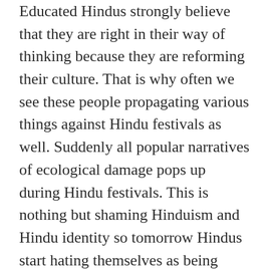Educated Hindus strongly believe that they are right in their way of thinking because they are reforming their culture. That is why often we see these people propagating various things against Hindu festivals as well. Suddenly all popular narratives of ecological damage pops up during Hindu festivals. This is nothing but shaming Hinduism and Hindu identity so tomorrow Hindus start hating themselves as being inferior.
The same is seen in leftist-feminist campaign against Indian men as well and it is the male feminists who claim to be equalists are biggest